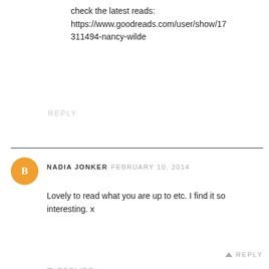check the latest reads:
https://www.goodreads.com/user/show/17311494-nancy-wilde
REPLY
NADIA JONKER  FEBRUARY 10, 2014
Lovely to read what you are up to etc. I find it so interesting. x
REPLY
▼ REPLIES
SWK  FEBRUARY 10, 2014